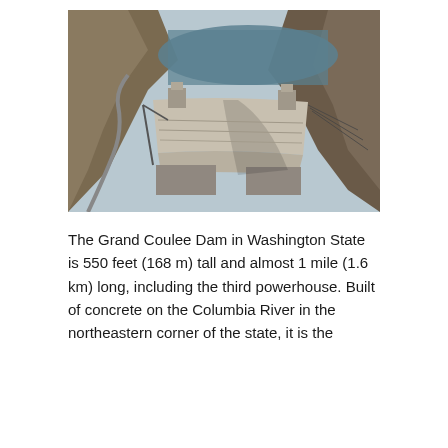[Figure (photo): Aerial photograph of the Hoover Dam (or Grand Coulee Dam) showing the large concrete dam structure spanning a canyon, with a reservoir behind it, power lines, switchyard, and winding roads along the canyon walls. The rocky canyon terrain is visible on both sides.]
The Grand Coulee Dam in Washington State is 550 feet (168 m) tall and almost 1 mile (1.6 km) long, including the third powerhouse. Built of concrete on the Columbia River in the northeastern corner of the state, it is the largest ...